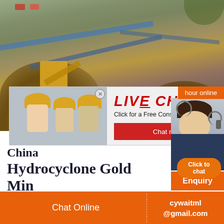[Figure (photo): Aerial view of a large open-pit mining site with yellow excavators, conveyor belts, earth mounds, and industrial equipment.]
[Figure (photo): Live chat popup overlay showing workers in yellow hard hats, 'LIVE CHAT' in red italic text, 'Click for a Free Consultation' subtitle, and Chat now / Chat later buttons. An agent with headset is shown on the right with 'hour online' orange label.]
China Hydrocyclone Gold Min
China High Efficiency Hydrocyclone Gold Processing Equipment, Find details about C Hydrocyclone, Hydrocyclones for Iron Ore
[Figure (infographic): Orange 'Click to chat' button and 'Enquiry' orange box on right side panel.]
Chat Online   cywaitml @gmail.com